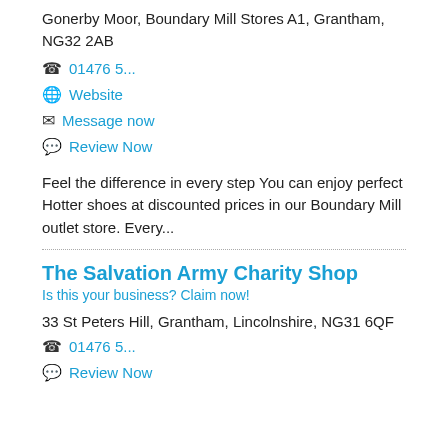Gonerby Moor, Boundary Mill Stores A1, Grantham, NG32 2AB
01476 5...
Website
Message now
Review Now
Feel the difference in every step You can enjoy perfect Hotter shoes at discounted prices in our Boundary Mill outlet store. Every...
The Salvation Army Charity Shop
Is this your business? Claim now!
33 St Peters Hill, Grantham, Lincolnshire, NG31 6QF
01476 5...
Review Now